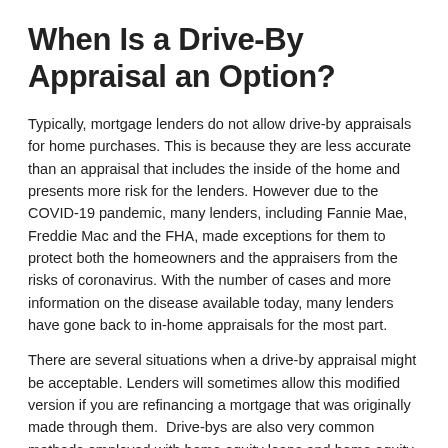When Is a Drive-By Appraisal an Option?
Typically, mortgage lenders do not allow drive-by appraisals for home purchases. This is because they are less accurate than an appraisal that includes the inside of the home and presents more risk for the lenders. However due to the COVID-19 pandemic, many lenders, including Fannie Mae, Freddie Mac and the FHA, made exceptions for them to protect both the homeowners and the appraisers from the risks of coronavirus. With the number of cases and more information on the disease available today, many lenders have gone back to in-home appraisals for the most part.
There are several situations when a drive-by appraisal might be acceptable. Lenders will sometimes allow this modified version if you are refinancing a mortgage that was originally made through them.  Drive-bys are also very common methods employed with home equity loans and home equity lines of credit. Additionally, if you